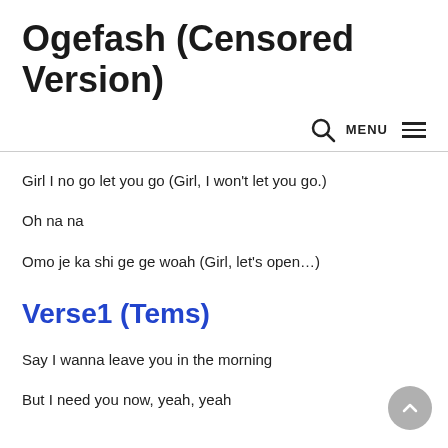Ogefash (Censored Version)
Girl I no go let you go (Girl, I won't let you go.)
Oh na na
Omo je ka shi ge ge woah (Girl, let's open…)
Verse1 (Tems)
Say I wanna leave you in the morning
But I need you now, yeah, yeah